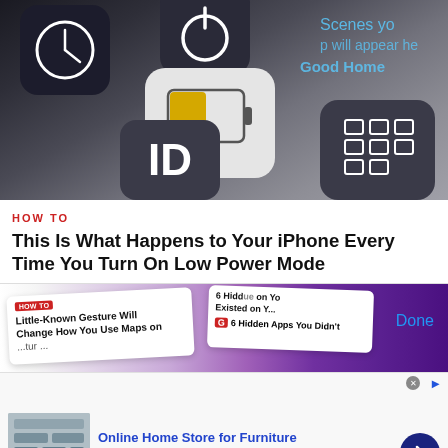[Figure (photo): Close-up photo of iPhone app icons on dark background, including a battery icon with yellow indicator on white rounded square]
HOW TO
This Is What Happens to Your iPhone Every Time You Turn On Low Power Mode
[Figure (screenshot): Screenshot of mobile browser showing article thumbnails including 'Little-Known Gesture Will Change How You Use Maps on Your...' and '6 Hidden Apps You Didn't Know Existed on Your...' with Done button visible]
Online Home Store for Furniture
Shop Wayfair for A Zillion Things Home across all styles
www.wayfair.com